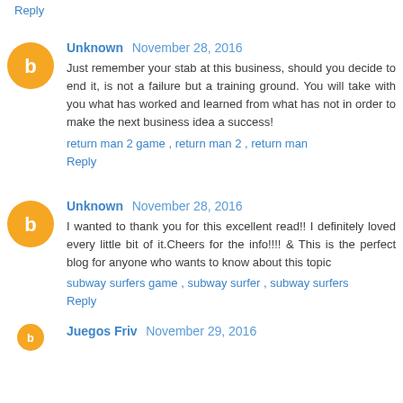Reply
Unknown November 28, 2016
Just remember your stab at this business, should you decide to end it, is not a failure but a training ground. You will take with you what has worked and learned from what has not in order to make the next business idea a success!
return man 2 game , return man 2 , return man
Reply
Unknown November 28, 2016
I wanted to thank you for this excellent read!! I definitely loved every little bit of it.Cheers for the info!!!! & This is the perfect blog for anyone who wants to know about this topic
subway surfers game , subway surfer , subway surfers
Reply
Juegos Friv November 29, 2016